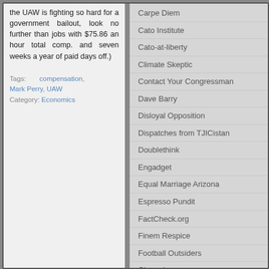the UAW is fighting so hard for a government bailout, look no further than jobs with $75.86 an hour total comp. and seven weeks a year of paid days off.)
Tags: compensation, Mark Perry, UAW
Category: Economics
Carpe Diem
Cato Institute
Cato-at-liberty
Climate Skeptic
Contact Your Congressman
Dave Barry
Disloyal Opposition
Dispatches from TJICistan
Doublethink
Engadget
Equal Marriage Arizona
Espresso Pundit
FactCheck.org
Finem Respice
Football Outsiders
Gizmodo
Graphic Design and Art
Handbags and Purses by Kate Groves
Hit and Run
Home Theater Blog
Houston Clear Thinkers